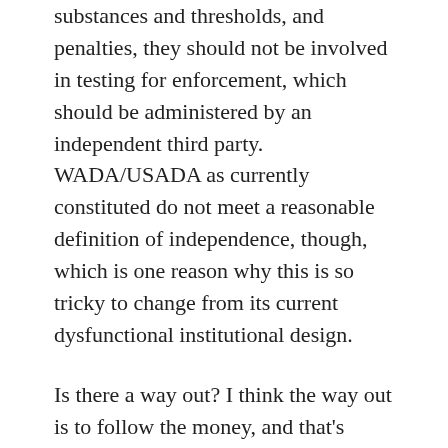substances and thresholds, and penalties, they should not be involved in testing for enforcement, which should be administered by an independent third party. WADA/USADA as currently constituted do not meet a reasonable definition of independence, though, which is one reason why this is so tricky to change from its current dysfunctional institutional design.
Is there a way out? I think the way out is to follow the money, and that's where the Rabobank sponsorship departure is painful in the short run but may help to realign these perverse incentives at UCI in the longer run. The way out has to be through cultural change from fans and sponsors to agitate for change at the UCI. Their leadership is perhaps more likely than the athletes to respond to